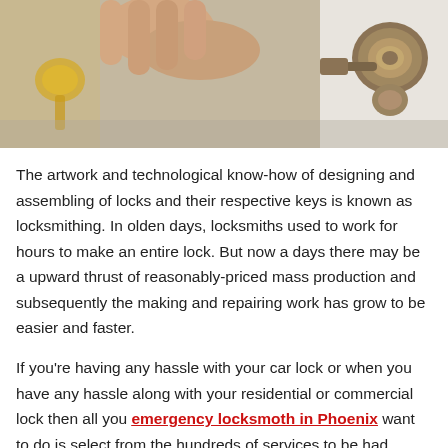[Figure (photo): Photo of a person's hand operating a door lock/door knob, partially visible at top of page]
The artwork and technological know-how of designing and assembling of locks and their respective keys is known as locksmithing. In olden days, locksmiths used to work for hours to make an entire lock. But now a days there may be a upward thrust of reasonably-priced mass production and subsequently the making and repairing work has grow to be easier and faster.
If you're having any hassle with your car lock or when you have any hassle along with your residential or commercial lock then all you emergency locksmoth in Phoenix want to do is select from the hundreds of services to be had